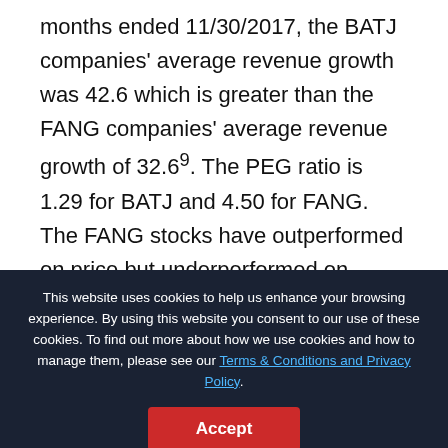months ended 11/30/2017, the BATJ companies' average revenue growth was 42.6 which is greater than the FANG companies' average revenue growth of 32.6⁹. The PEG ratio is 1.29 for BATJ and 4.50 for FANG. The FANG stocks have outperformed on price but underperformed on fundamentals. Given the PEG ratios, a rational investor might expect, with all else being equal, BATJ may outperform FANG over the next few years.
This website uses cookies to help us enhance your browsing experience. By using this website you consent to our use of these cookies. To find out more about how we use cookies and how to manage them, please see our Terms & Conditions and Privacy Policy.